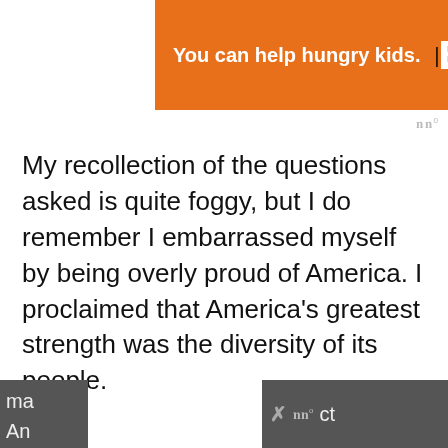[Figure (screenshot): Orange advertisement banner: 'You can help hungry kids.' No Kid Hungry logo and 'LEARN HOW' button. Blue X close button in top right corner.]
My recollection of the questions asked is quite foggy, but I do remember I embarrassed myself by being overly proud of America. I proclaimed that America's greatest strength was the diversity of its people.
“They came from all corners of the Earth to live in the USA, and their striving to ma[ke America great]...